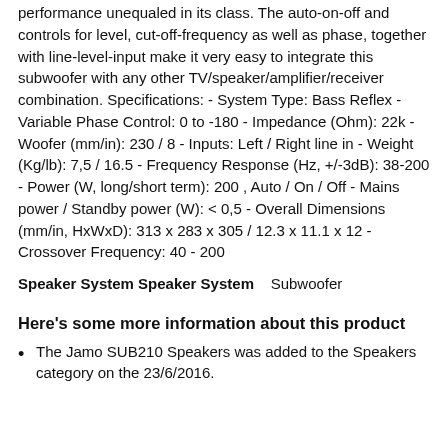performance unequaled in its class. The auto-on-off and controls for level, cut-off-frequency as well as phase, together with line-level-input make it very easy to integrate this subwoofer with any other TV/speaker/amplifier/receiver combination. Specifications: - System Type: Bass Reflex - Variable Phase Control: 0 to -180 - Impedance (Ohm): 22k - Woofer (mm/in): 230 / 8 - Inputs: Left / Right line in - Weight (Kg/lb): 7,5 / 16.5 - Frequency Response (Hz, +/-3dB): 38-200 - Power (W, long/short term): 200 , Auto / On / Off - Mains power / Standby power (W): < 0,5 - Overall Dimensions (mm/in, HxWxD): 313 x 283 x 305 / 12.3 x 11.1 x 12 - Crossover Frequency: 40 - 200
Speaker System Speaker System    Subwoofer
Here's some more information about this product
The Jamo SUB210 Speakers was added to the Speakers category on the 23/6/2016.